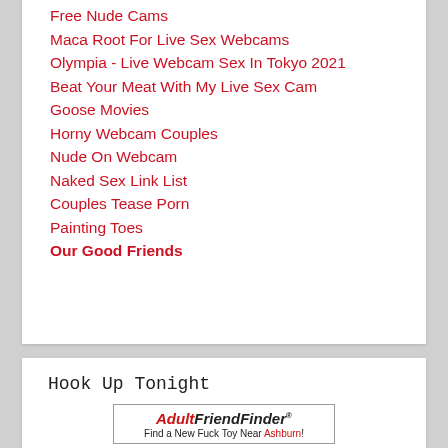Free Nude Cams
Maca Root For Live Sex Webcams
Olympia - Live Webcam Sex In Tokyo 2021
Beat Your Meat With My Live Sex Cam
Goose Movies
Horny Webcam Couples
Nude On Webcam
Naked Sex Link List
Couples Tease Porn
Painting Toes
Our Good Friends
Hook Up Tonight
[Figure (logo): AdultFriendFinder logo with tagline 'Find a New Fuck Toy Near Ashburn!']